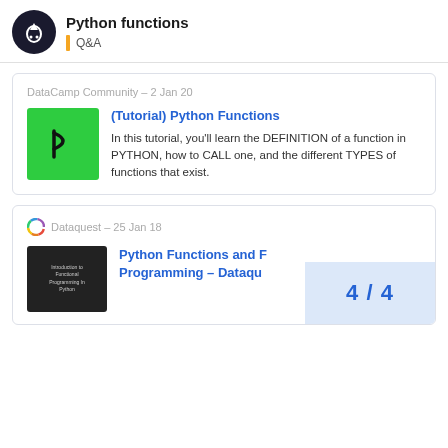Python functions | Q&A
DataCamp Community – 2 Jan 20
(Tutorial) Python Functions
In this tutorial, you'll learn the DEFINITION of a function in PYTHON, how to CALL one, and the different TYPES of functions that exist.
Dataquest – 25 Jan 18
Python Functions and Programming – Dataqu…
4 / 4